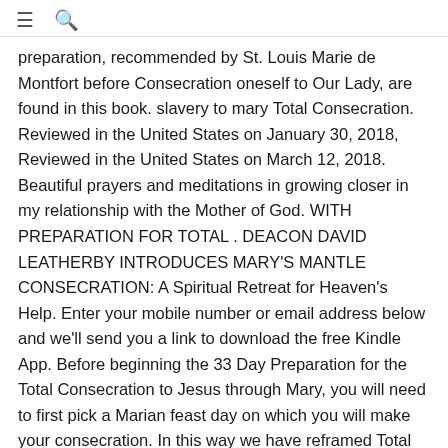≡  🔍
preparation, recommended by St. Louis Marie de Montfort before Consecration oneself to Our Lady, are found in this book. slavery to mary Total Consecration. Reviewed in the United States on January 30, 2018, Reviewed in the United States on March 12, 2018. Beautiful prayers and meditations in growing closer in my relationship with the Mother of God. WITH PREPARATION FOR TOTAL . DEACON DAVID LEATHERBY INTRODUCES MARY'S MANTLE CONSECRATION: A Spiritual Retreat for Heaven's Help. Enter your mobile number or email address below and we'll send you a link to download the free Kindle App. Before beginning the 33 Day Preparation for the Total Consecration to Jesus through Mary, you will need to first pick a Marian feast day on which you will make your consecration. In this way we have reframed Total Consecration to Mary, without losing anything, no longer as a scary slavery, but now as the perfect embrace and safe protection provided by a mother for an infant in her womb. May 4, 2020 Sensus Fidelium 3 Comments. The heart of Montfort's classic work True Devotion to Mary is a formal act of